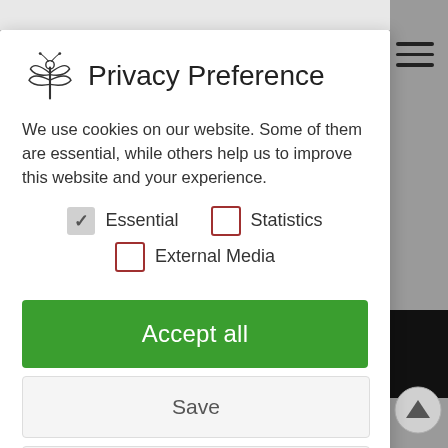Privacy Preference
We use cookies on our website. Some of them are essential, while others help us to improve this website and your experience.
Essential (checked)
Statistics (unchecked)
External Media (unchecked)
Accept all
Save
Accept only essential cookies
Individual Privacy Preferences
Cookie Details | Privacy Policy | Imprint